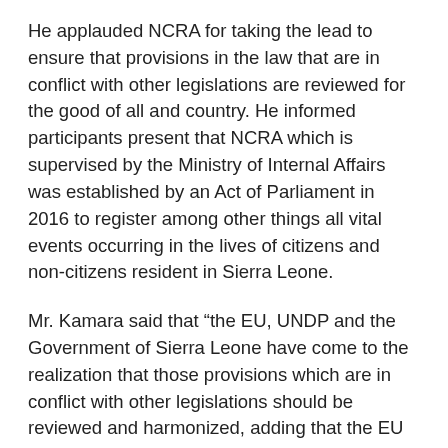He applauded NCRA for taking the lead to ensure that provisions in the law that are in conflict with other legislations are reviewed for the good of all and country. He informed participants present that NCRA which is supervised by the Ministry of Internal Affairs was established by an Act of Parliament in 2016 to register among other things all vital events occurring in the lives of citizens and non-citizens resident in Sierra Leone.
Mr. Kamara said that “the EU, UNDP and the Government of Sierra Leone have come to the realization that those provisions which are in conflict with other legislations should be reviewed and harmonized, adding that the EU has contracted both National and International Legal consultants to work together with the Directorate of External Relations